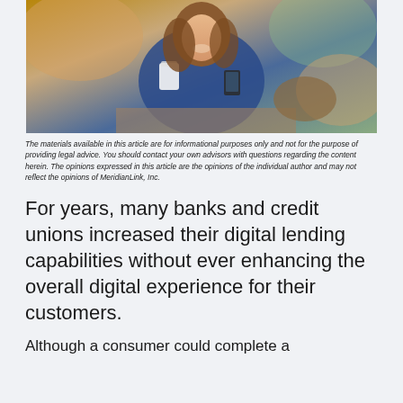[Figure (photo): Woman in blue top smiling, holding a coffee cup and smartphone, seated at a table in a cafe setting]
The materials available in this article are for informational purposes only and not for the purpose of providing legal advice. You should contact your own advisors with questions regarding the content herein. The opinions expressed in this article are the opinions of the individual author and may not reflect the opinions of MeridianLink, Inc.
For years, many banks and credit unions increased their digital lending capabilities without ever enhancing the overall digital experience for their customers.
Although a consumer could complete a